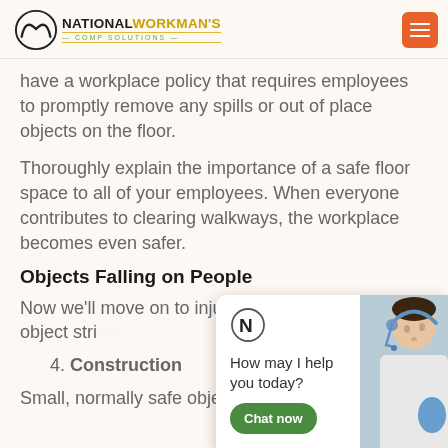NATIONAL WORKMAN'S COMP SOLUTIONS
have a workplace policy that requires employees to promptly remove any spills or out of place objects on the floor.
Thoroughly explain the importance of a safe floor space to all of your employees. When everyone contributes to clearing walkways, the workplace becomes even safer.
Objects Falling on People
Now we'll move on to injuries that occur when an object strikes someone.
4. Construction Sites
Small, normally safe objects can become a